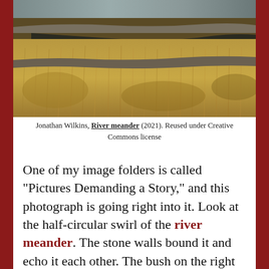[Figure (photo): Aerial or elevated view of a river meander through moorland with dry golden-brown grass and stone walls visible along the curve of the river.]
Jonathan Wilkins, River meander (2021). Reused under Creative Commons license
One of my image folders is called "Pictures Demanding a Story," and this photograph is going right into it. Look at the half-circular swirl of the river meander. The stone walls bound it and echo it each other. The bush on the right at the end of the curve rises into a different energy. Oh, and that glimpse of the horizontal sea way off on the horizon. All the elements together proclaim a place of power, maybe of ritual.